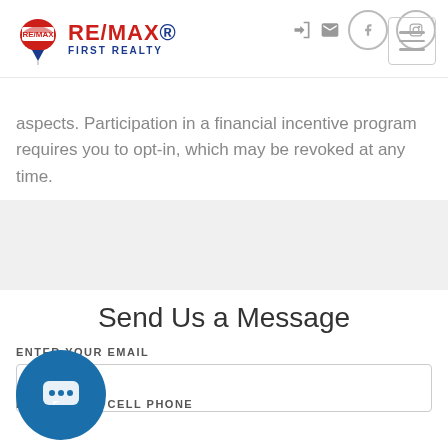[Figure (logo): RE/MAX First Realty logo with balloon icon and red/blue text]
aspects. Participation in a financial incentive program requires you to opt-in, which may be revoked at any time.
Send Us a Message
ENTER YOUR EMAIL
ENTER YOUR CELL PHONE